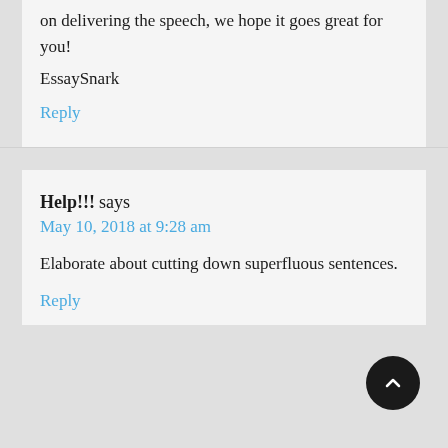on delivering the speech, we hope it goes great for you!
EssaySnark
Reply
Help!!! says
May 10, 2018 at 9:28 am
Elaborate about cutting down superfluous sentences.
Reply